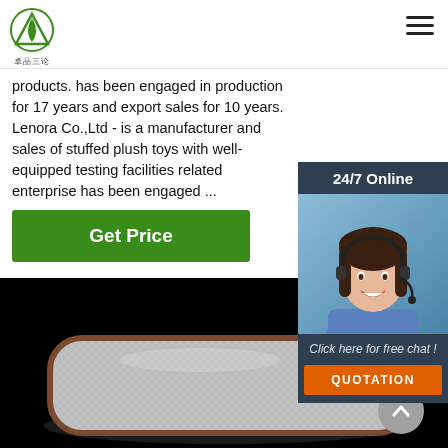SanLun logo and navigation
products. has been engaged in production for 17 years and export sales for 10 years. Lenora Co.,Ltd - is a manufacturer and sales of stuffed plush toys with well-equipped testing facilities related enterprise has been engaged ...
Get Price
[Figure (photo): 24/7 Online customer service representative - woman wearing headset smiling, with 'Click here for free chat!' text and QUOTATION button]
[Figure (photo): Product photo: a rectangular textured white/grey pad with brown border trim, shown against a black background. A scroll-up button is visible in the lower right.]